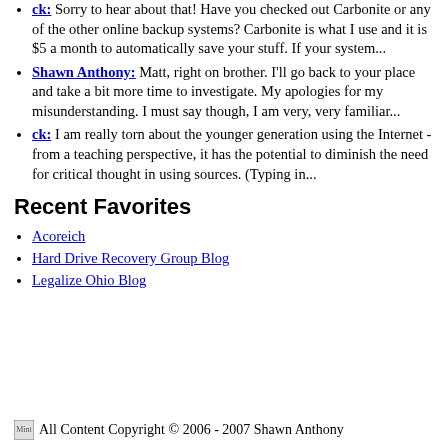ck: Sorry to hear about that! Have you checked out Carbonite or any of the other online backup systems? Carbonite is what I use and it is $5 a month to automatically save your stuff. If your system...
Shawn Anthony: Matt, right on brother. I'll go back to your place and take a bit more time to investigate. My apologies for my misunderstanding. I must say though, I am very, very familiar...
ck: I am really torn about the younger generation using the Internet - from a teaching perspective, it has the potential to diminish the need for critical thought in using sources. (Typing in...
Recent Favorites
Acoreich
Hard Drive Recovery Group Blog
Legalize Ohio Blog
Mint All Content Copyright © 2006 - 2007 Shawn Anthony